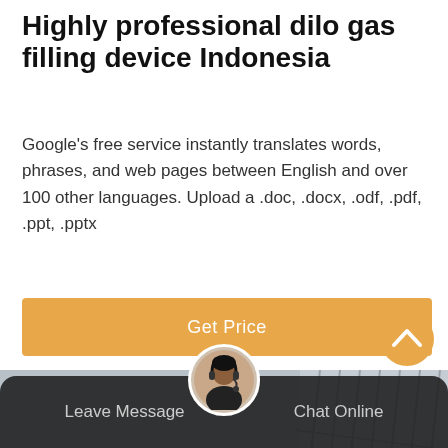Highly professional dilo gas filling device Indonesia
Google's free service instantly translates words, phrases, and web pages between English and over 100 other languages. Upload a .doc, .docx, .odf, .pdf, .ppt, .pptx
[Figure (other): Orange 'Get Price' button]
[Figure (photo): Yellow gas service truck with Chinese characters parked at an industrial facility with electrical infrastructure in the background]
[Figure (other): Dark footer bar with 'Leave Message' on the left, a customer service agent avatar in the center, and 'Chat Online' on the right. An orange scroll-to-top button appears at bottom right.]